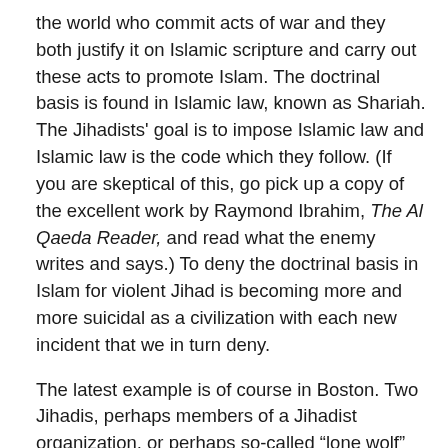the world who commit acts of war and they both justify it on Islamic scripture and carry out these acts to promote Islam. The doctrinal basis is found in Islamic law, known as Shariah. The Jihadists' goal is to impose Islamic law and Islamic law is the code which they follow. (If you are skeptical of this, go pick up a copy of the excellent work by Raymond Ibrahim, The Al Qaeda Reader, and read what the enemy writes and says.) To deny the doctrinal basis in Islam for violent Jihad is becoming more and more suicidal as a civilization with each new incident that we in turn deny.
The latest example is of course in Boston. Two Jihadis, perhaps members of a Jihadist organization, or perhaps so-called “lone wolf” actors, committed atrocious acts of violent Jihad, killing several innocents and wounding many